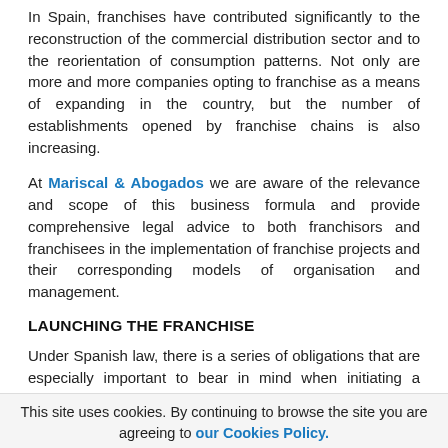In Spain, franchises have contributed significantly to the reconstruction of the commercial distribution sector and to the reorientation of consumption patterns. Not only are more and more companies opting to franchise as a means of expanding in the country, but the number of establishments opened by franchise chains is also increasing.
At Mariscal & Abogados we are aware of the relevance and scope of this business formula and provide comprehensive legal advice to both franchisors and franchisees in the implementation of franchise projects and their corresponding models of organisation and management.
LAUNCHING THE FRANCHISE
Under Spanish law, there is a series of obligations that are especially important to bear in mind when initiating a franchise project. Therefore, we advise our franchisor clients in the preparation and review of the pre-contractual information that is to be provided to the franchisee. Likewise, we ensure that our franchised clients obtain this information, and we verify that the terms thereof comply with the law and protect, in each case, their interests.
This site uses cookies. By continuing to browse the site you are agreeing to our Cookies Policy.